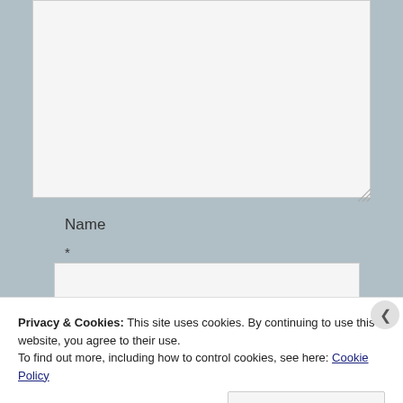[Figure (screenshot): A web form showing a large textarea (comment box) above a Name field with required asterisk and a text input box. The form has a light gray background with bordered input areas and a resize handle on the textarea.]
Name
*
Privacy & Cookies: This site uses cookies. By continuing to use this website, you agree to their use.
To find out more, including how to control cookies, see here: Cookie Policy
Close and accept